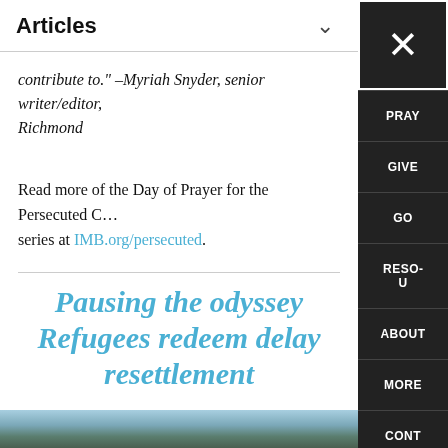Articles
contribute to." –Myriah Snyder, senior writer/editor, Richmond
Read more of the Day of Prayer for the Persecuted C… series at IMB.org/persecuted.
Pausing the odyssey Refugees redeem delay resettlement
[Figure (photo): Photo of a person outdoors, partially visible at bottom of page]